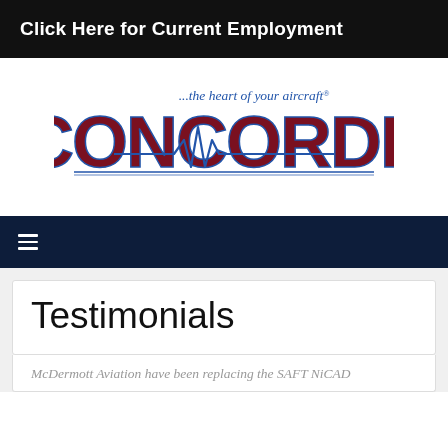Click Here for Current Employment
[Figure (logo): Concorde battery logo with tagline '...the heart of your aircraft®' and large stylized red CONCORDE text with heartbeat line graphic]
≡ (navigation menu icon)
Testimonials
McDermott Aviation have been replacing the SAFT NiCAD